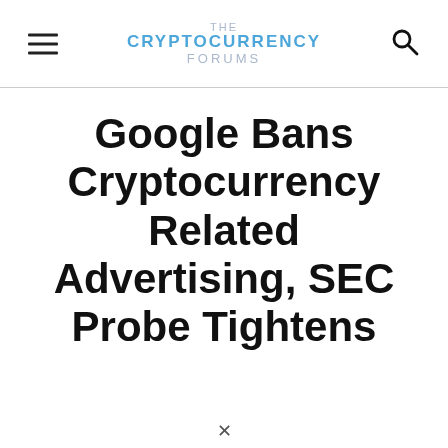THE CRYPTOCURRENCY FORUMS
Google Bans Cryptocurrency Related Advertising, SEC Probe Tightens